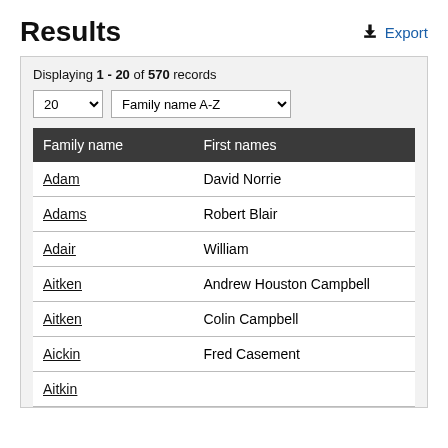Results
Export
Displaying 1 - 20 of 570 records
| Family name | First names |
| --- | --- |
| Adam | David Norrie |
| Adams | Robert Blair |
| Adair | William |
| Aitken | Andrew Houston Campbell |
| Aitken | Colin Campbell |
| Aickin | Fred Casement |
| Aitkin | … |